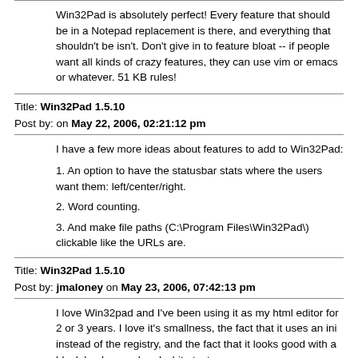Win32Pad is absolutely perfect! Every feature that should be in a Notepad replacement is there, and everything that shouldn't be isn't. Don't give in to feature bloat -- if people want all kinds of crazy features, they can use vim or emacs or whatever. 51 KB rules!
Title: Win32Pad 1.5.10
Post by: on May 22, 2006, 02:21:12 pm
I have a few more ideas about features to add to Win32Pad:
1. An option to have the statusbar stats where the users want them: left/center/right.
2. Word counting.
3. And make file paths (C:\Program Files\Win32Pad\) clickable like the URLs are.
Title: Win32Pad 1.5.10
Post by: jmaloney on May 23, 2006, 07:42:13 pm
I love Win32pad and I've been using it as my html editor for 2 or 3 years. I love it's smallness, the fact that it uses an ini instead of the registry, and the fact that it looks good with a black background and white text.